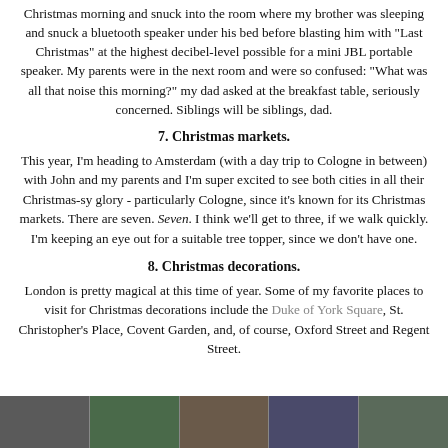Christmas morning and snuck into the room where my brother was sleeping and snuck a bluetooth speaker under his bed before blasting him with "Last Christmas" at the highest decibel-level possible for a mini JBL portable speaker. My parents were in the next room and were so confused: "What was all that noise this morning?" my dad asked at the breakfast table, seriously concerned. Siblings will be siblings, dad.
7. Christmas markets.
This year, I'm heading to Amsterdam (with a day trip to Cologne in between) with John and my parents and I'm super excited to see both cities in all their Christmas-sy glory - particularly Cologne, since it's known for its Christmas markets. There are seven. Seven. I think we'll get to three, if we walk quickly. I'm keeping an eye out for a suitable tree topper, since we don't have one.
8. Christmas decorations.
London is pretty magical at this time of year. Some of my favorite places to visit for Christmas decorations include the Duke of York Square, St. Christopher's Place, Covent Garden, and, of course, Oxford Street and Regent Street.
[Figure (photo): A strip of photos at the bottom of the page showing Christmas-related scenes]